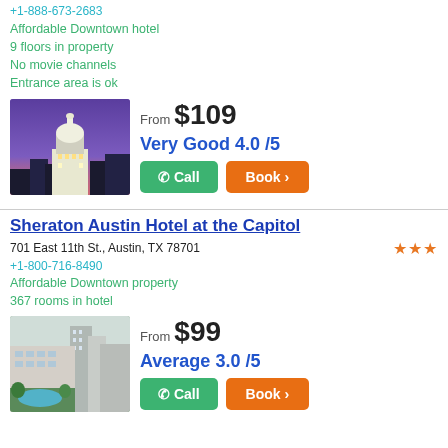+1-888-673-2683
Affordable Downtown hotel
9 floors in property
No movie channels
Entrance area is ok
[Figure (photo): Hotel building with illuminated dome at dusk, purple sky]
From $109
Very Good 4.0 /5
Call
Book >
Sheraton Austin Hotel at the Capitol
701 East 11th St., Austin, TX 78701
+1-800-716-8490
Affordable Downtown property
367 rooms in hotel
[Figure (photo): Aerial view of hotel with pool and city buildings]
From $99
Average 3.0 /5
Call
Book >